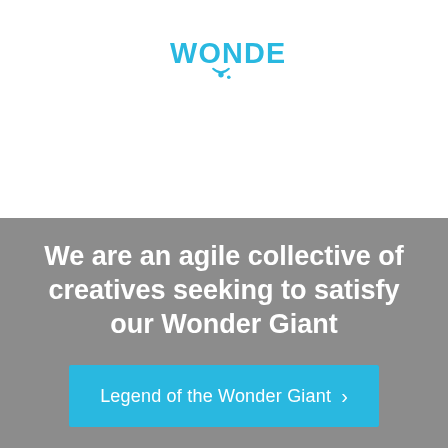[Figure (logo): Wonder logo in blue with stylized text and two dots beneath forming a question mark shape]
We are an agile collective of creatives seeking to satisfy our Wonder Giant
Legend of the Wonder Giant >